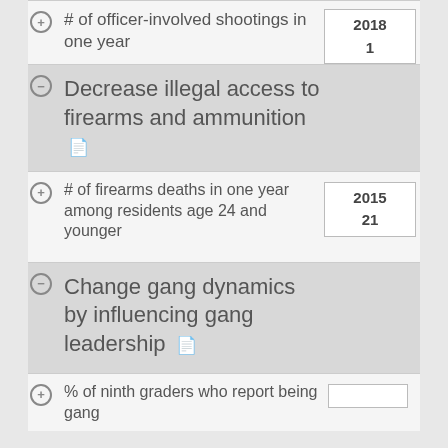# of officer-involved shootings in one year | 2018 | 1
Decrease illegal access to firearms and ammunition
# of firearms deaths in one year among residents age 24 and younger | 2015 | 21
Change gang dynamics by influencing gang leadership
% of ninth graders who report being gang